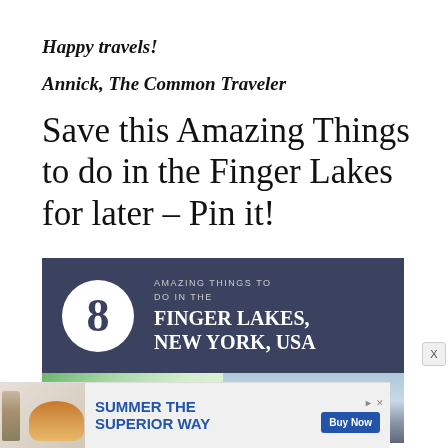Happy travels!
Annick, The Common Traveler
Save this Amazing Things to do in the Finger Lakes for later – Pin it!
[Figure (infographic): Infographic reading '8 Amazing Things to Do in the Finger Lakes, New York, USA' with a white circle containing the number 8 on a dark navy background, and a photo strip below showing greenery on the left and a church spire against a cloudy sky on the right.]
[Figure (infographic): Advertisement banner: 'SUMMER THE SUPERIOR WAY' with Michelob Ultra beer can and burger image, Buy Now button.]